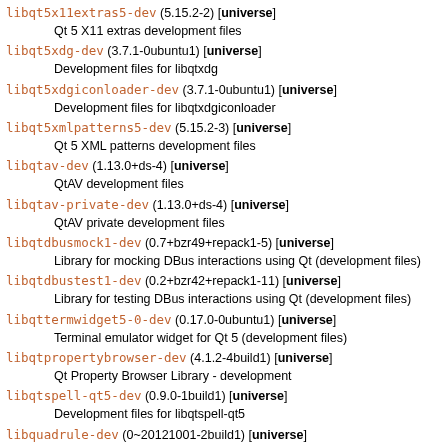libqt5x11extras5-dev (5.15.2-2) [universe]
    Qt 5 X11 extras development files
libqt5xdg-dev (3.7.1-0ubuntu1) [universe]
    Development files for libqtxdg
libqt5xdgiconloader-dev (3.7.1-0ubuntu1) [universe]
    Development files for libqtxdgiconloader
libqt5xmlpatterns5-dev (5.15.2-3) [universe]
    Qt 5 XML patterns development files
libqtav-dev (1.13.0+ds-4) [universe]
    QtAV development files
libqtav-private-dev (1.13.0+ds-4) [universe]
    QtAV private development files
libqtdbusmock1-dev (0.7+bzr49+repack1-5) [universe]
    Library for mocking DBus interactions using Qt (development files)
libqtdbustest1-dev (0.2+bzr42+repack1-11) [universe]
    Library for testing DBus interactions using Qt (development files)
libqttermwidget5-0-dev (0.17.0-0ubuntu1) [universe]
    Terminal emulator widget for Qt 5 (development files)
libqtpropertybrowser-dev (4.1.2-4build1) [universe]
    Qt Property Browser Library - development
libqtspell-qt5-dev (0.9.0-1build1) [universe]
    Development files for libqtspell-qt5
libquadrule-dev (0~20121001-2build1) [universe]